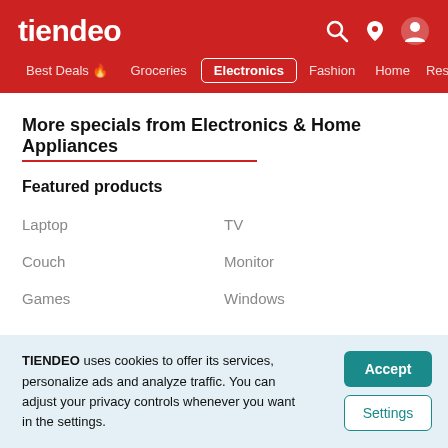tiendeo
Best Deals 🔥  Groceries  Electronics  Fashion  Home  Rest…
More specials from Electronics & Home Appliances
Featured products
Laptop
TV
Couch
Monitor
Games
Windows
TIENDEO uses cookies to offer its services, personalize ads and analyze traffic. You can adjust your privacy controls whenever you want in the settings.